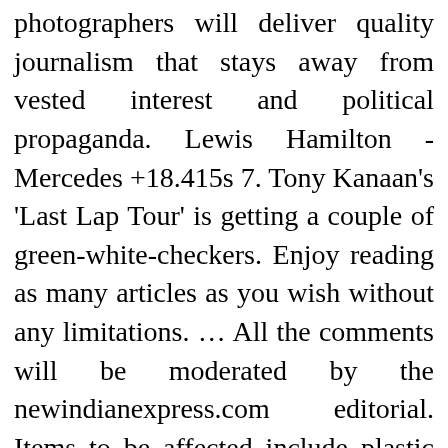photographers will deliver quality journalism that stays away from vested interest and political propaganda. Lewis Hamilton - Mercedes +18.415s 7. Tony Kanaan's 'Last Lap Tour' is getting a couple of green-white-checkers. Enjoy reading as many articles as you wish without any limitations. ... All the comments will be moderated by the newindianexpress.com editorial. Items to be affected include plastic cups, ear buds, cutlery, drinking straws and PET bottles for water and soft drinks. The last lap With the fixing of standard rates and pruning of exemptions, the transition to a GST regime is well begun . Weekly Important Definitions PDF, 20-26DEC20. Below is todayâ☒☒s word list-1 for The Hindu Editorial (Last lap) â☒☒ Aug 22, 2020. In the midst of this, talks are gaping on the issue who will garner Shiv Senaâ☒☒s support. You have